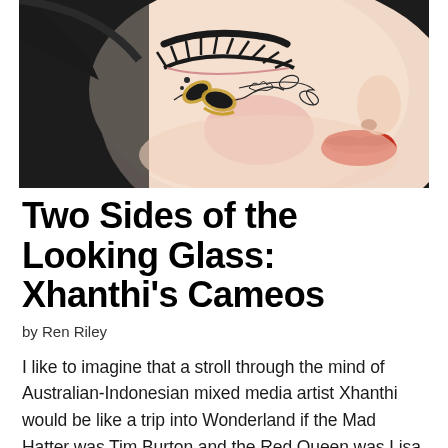[Figure (photo): Close-up photograph of a decorative ceramic or porcelain figure with a feminine face, featuring painted floral and butterfly motifs in black, white and gold on the cheek. The figure has rosy cheeks, red lips, and long eyelashes, with a dreamy aesthetic.]
Two Sides of the Looking Glass: Xhanthi's Cameos
by Ren Riley
I like to imagine that a stroll through the mind of Australian-Indonesian mixed media artist Xhanthi would be like a trip into Wonderland if the Mad Hatter was Tim Burton and the Red Queen was Lisa Frank. Around every bend there's another pastel dreamscape interspersed with playful touches of the macabre